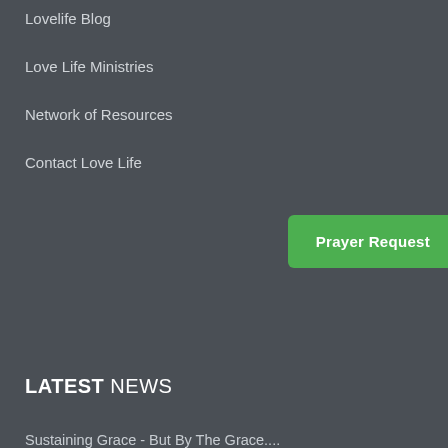Lovelife Blog
Love Life Ministries
Network of Resources
Contact Love Life
Prayer Request
LATEST NEWS
Sustaining Grace - But By The Grace....
Sustaining Grace - God Commendeth....
Sustaining Grace - For by grace....
Sustaining Grace - But he giveth more....
Sustaining Grace - For Sin Shall Not....